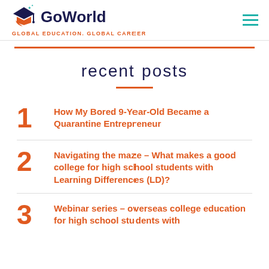[Figure (logo): GoWorld logo with graduation cap icon and tagline GLOBAL EDUCATION. GLOBAL CAREER]
recent posts
1. How My Bored 9-Year-Old Became a Quarantine Entrepreneur
2. Navigating the maze – What makes a good college for high school students with Learning Differences (LD)?
3. Webinar series – overseas college education for high school students with